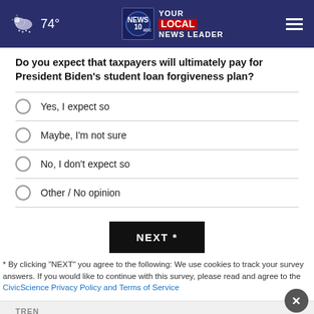74° | NEWS 10 abc YOUR LOCAL NEWS LEADER
Do you expect that taxpayers will ultimately pay for President Biden's student loan forgiveness plan?
Yes, I expect so
Maybe, I'm not sure
No, I don't expect so
Other / No opinion
NEXT *
* By clicking "NEXT" you agree to the following: We use cookies to track your survey answers. If you would like to continue with this survey, please read and agree to the CivicScience Privacy Policy and Terms of Service
TREN
[Figure (infographic): Advertisement banner: SHE CAN STEM on dark background]